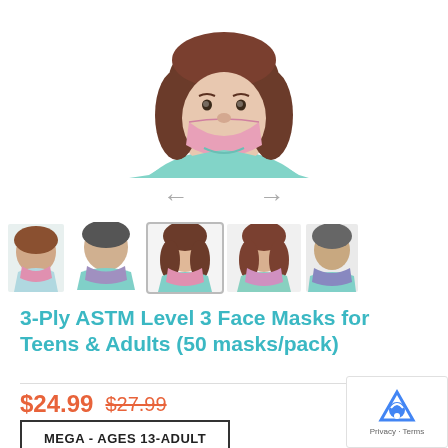[Figure (photo): Main product photo showing a woman wearing a pink 3-ply face mask, teal/mint colored top, long brunette hair, white background. Navigation arrows (left and right) below main image.]
[Figure (photo): Thumbnail row showing 5 product photos of people wearing face masks in various colors and styles.]
3-Ply ASTM Level 3 Face Masks for Teens & Adults (50 masks/pack)
$24.99 $27.99
MEGA - AGES 13-ADULT